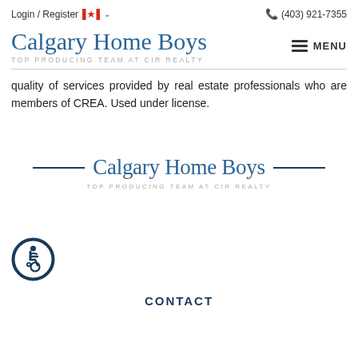Login / Register  🇨🇦 ∨  (403) 921-7355
[Figure (logo): Calgary Home Boys logo with text 'TOP PRODUCING TEAM AT CIR REALTY' and MENU hamburger button]
quality of services provided by real estate professionals who are members of CREA. Used under license.
[Figure (logo): Calgary Home Boys footer logo with horizontal lines and text 'TOP PRODUCING TEAM AT CIR REALTY']
[Figure (illustration): Accessibility wheelchair icon in a circle]
CONTACT